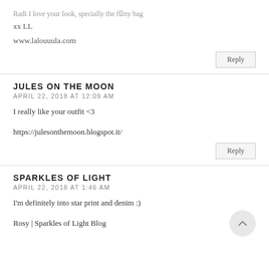Radi I love your look, specially the funny bag
xx LL
www.lalouuula.com
Reply
JULES ON THE MOON
APRIL 22, 2018 AT 12:09 AM
I really like your outfit <3
https://julesonthemoon.blogspot.it/
Reply
SPARKLES OF LIGHT
APRIL 22, 2018 AT 1:46 AM
I'm definitely into star print and denim :)
Rosy | Sparkles of Light Blog